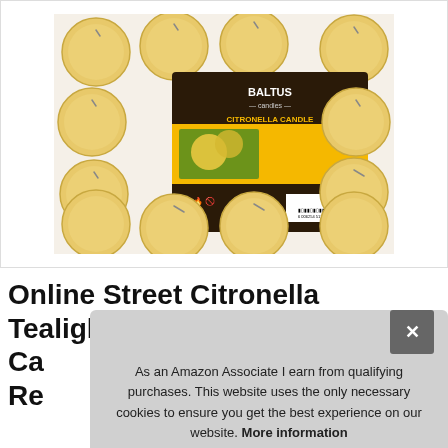[Figure (photo): Baltus Candles Citronella Candle tealight pack — multiple round yellow citronella tealight candles arranged in a grid with a product label showing Baltus Candles branding, citronella scent, outdoor use only, 7 hour burn time, safety symbols, and barcode.]
Online Street Citronella Tealights Ca... Re...
As an Amazon Associate I earn from qualifying purchases. This website uses the only necessary cookies to ensure you get the best experience on our website. More information